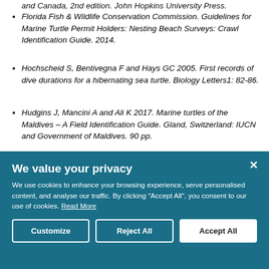and Canada, 2nd edition. John Hopkins University Press.
Florida Fish & Wildlife Conservation Commission. Guidelines for Marine Turtle Permit Holders: Nesting Beach Surveys: Crawl Identification Guide. 2014.
Hochscheid S, Bentivegna F and Hays GC 2005. First records of dive durations for a hibernating sea turtle. Biology Letters1: 82-86.
Hudgins J, Mancini A and Ali K 2017. Marine turtles of the Maldives – A Field Identification Guide. Gland, Switzerland: IUCN and Government of Maldives. 90 pp.
Spotila JR 2004. Sea Turtles: A Complete Guide to Their Biology, Behaviour and Conservation. The John Hopkins University Press, Baltimore, USA.
We value your privacy
We use cookies to enhance your browsing experience, serve personalised content, and analyse our traffic. By clicking "Accept All", you consent to our use of cookies. Read More
Customize | Reject All | Accept All